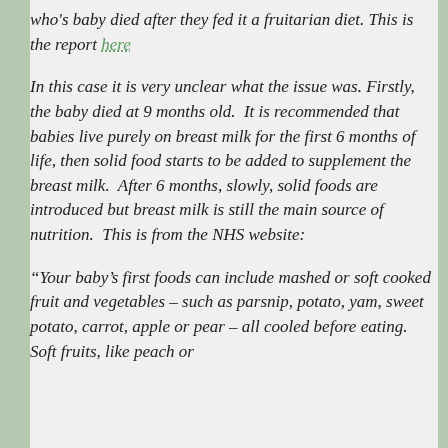who's baby died after they fed it a fruitarian diet. This is the report here
In this case it is very unclear what the issue was. Firstly, the baby died at 9 months old. It is recommended that babies live purely on breast milk for the first 6 months of life, then solid food starts to be added to supplement the breast milk. After 6 months, slowly, solid foods are introduced but breast milk is still the main source of nutrition. This is from the NHS website:
“Your baby’s first foods can include mashed or soft cooked fruit and vegetables – such as parsnip, potato, yam, sweet potato, carrot, apple or pear – all cooled before eating. Soft fruits, like peach or